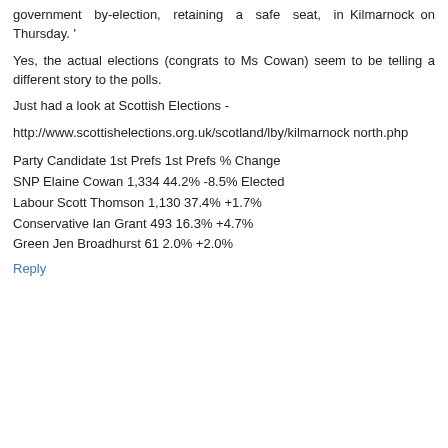government by-election, retaining a safe seat, in Kilmarnock on Thursday. '
Yes, the actual elections (congrats to Ms Cowan) seem to be telling a different story to the polls.
Just had a look at Scottish Elections -
http://www.scottishelections.org.uk/scotland/lby/kilmarnock north.php
Party Candidate 1st Prefs 1st Prefs % Change
SNP Elaine Cowan 1,334 44.2% -8.5% Elected
Labour Scott Thomson 1,130 37.4% +1.7%
Conservative Ian Grant 493 16.3% +4.7%
Green Jen Broadhurst 61 2.0% +2.0%
Reply